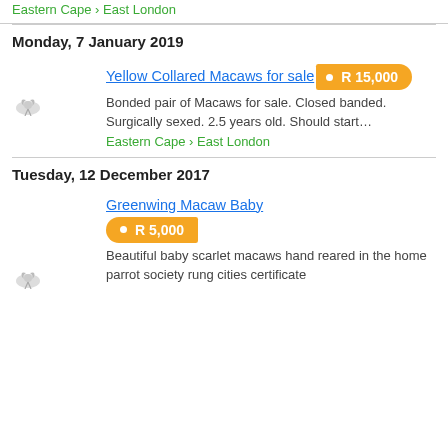Eastern Cape › East London
Monday, 7 January 2019
Yellow Collared Macaws for sale • R 15,000
Bonded pair of Macaws for sale. Closed banded. Surgically sexed. 2.5 years old. Should start…
Eastern Cape › East London
Tuesday, 12 December 2017
Greenwing Macaw Baby • R 5,000
Beautiful baby scarlet macaws hand reared in the home parrot society rung cities certificate